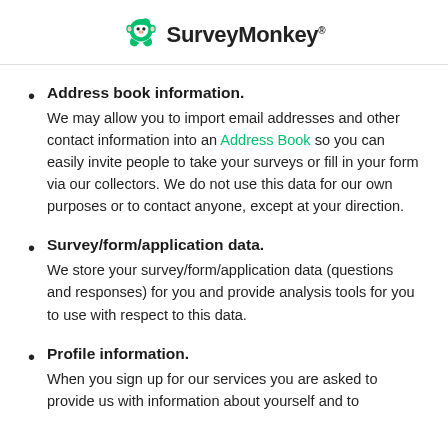SurveyMonkey
Address book information. We may allow you to import email addresses and other contact information into an Address Book so you can easily invite people to take your surveys or fill in your form via our collectors. We do not use this data for our own purposes or to contact anyone, except at your direction.
Survey/form/application data. We store your survey/form/application data (questions and responses) for you and provide analysis tools for you to use with respect to this data.
Profile information. When you sign up for our services you are asked to provide us with information about yourself and to